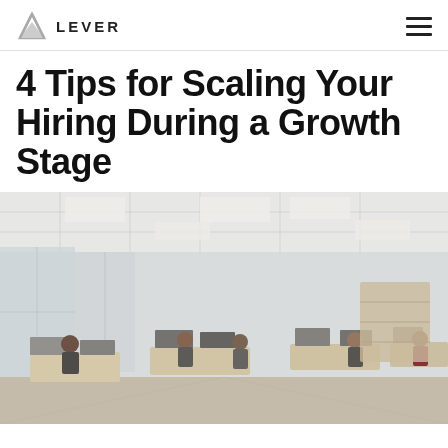LEVER
4 Tips for Scaling Your Hiring During a Growth Stage
[Figure (photo): Open-plan modern office with many employees working at desks with computers, large windows on the left, bright overhead lighting, bookshelves in the background]